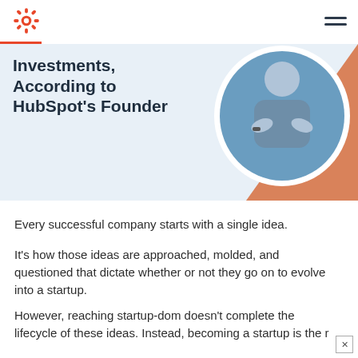HubSpot logo and navigation
[Figure (illustration): HubSpot blog article hero banner with bold title text 'Investments, According to HubSpot's Founder', light blue background, orange triangle shape bottom right, and circular photo of a person with arms crossed wearing blue shirt]
Every successful company starts with a single idea.
It's how those ideas are approached, molded, and questioned that dictate whether or not they go on to evolve into a startup.
However, reaching startup-dom doesn't complete the lifecycle of these ideas. Instead, becoming a startup is the [r...]